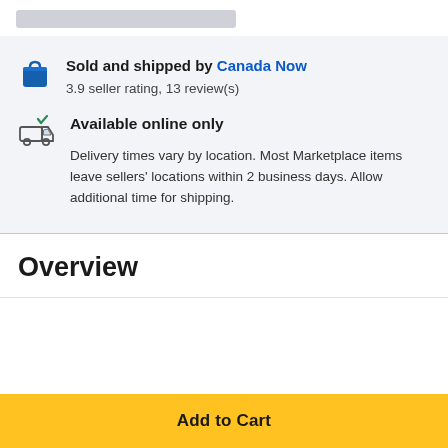Sold and shipped by Canada Now
3.9 seller rating, 13 review(s)
Available online only
Delivery times vary by location. Most Marketplace items leave sellers' locations within 2 business days. Allow additional time for shipping.
Overview
Add to Cart